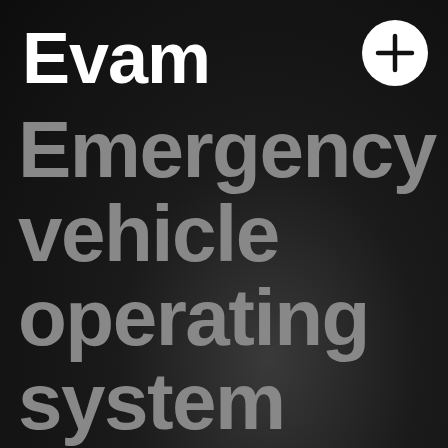Evam
[Figure (logo): White circle with a plus (+) sign in the top-right corner]
Emergency vehicle operating system